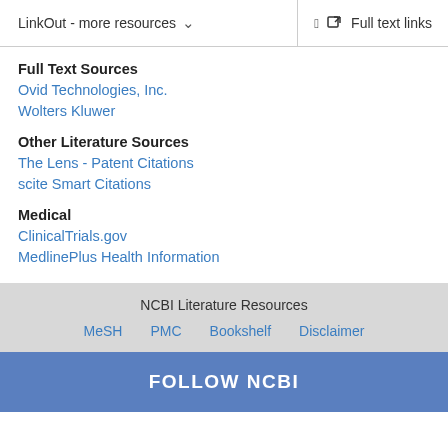LinkOut - more resources ∨    Full text links
Full Text Sources
Ovid Technologies, Inc.
Wolters Kluwer
Other Literature Sources
The Lens - Patent Citations
scite Smart Citations
Medical
ClinicalTrials.gov
MedlinePlus Health Information
NCBI Literature Resources
MeSH   PMC   Bookshelf   Disclaimer
FOLLOW NCBI